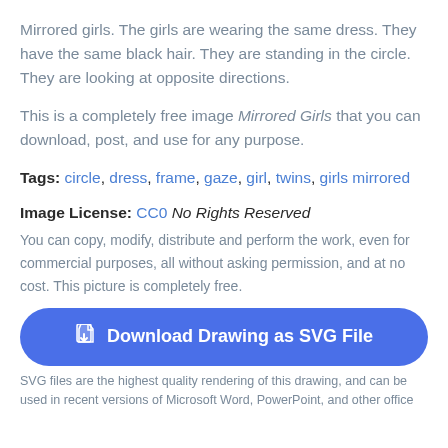Mirrored girls. The girls are wearing the same dress. They have the same black hair. They are standing in the circle. They are looking at opposite directions.
This is a completely free image Mirrored Girls that you can download, post, and use for any purpose.
Tags: circle, dress, frame, gaze, girl, twins, girls mirrored
Image License: CC0 No Rights Reserved
You can copy, modify, distribute and perform the work, even for commercial purposes, all without asking permission, and at no cost. This picture is completely free.
[Figure (other): Blue rounded button with download icon and text 'Download Drawing as SVG File']
SVG files are the highest quality rendering of this drawing, and can be used in recent versions of Microsoft Word, PowerPoint, and other office